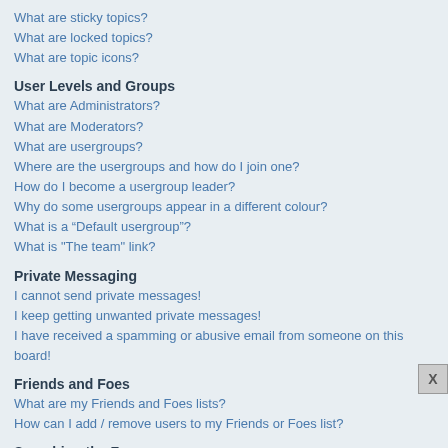What are sticky topics?
What are locked topics?
What are topic icons?
User Levels and Groups
What are Administrators?
What are Moderators?
What are usergroups?
Where are the usergroups and how do I join one?
How do I become a usergroup leader?
Why do some usergroups appear in a different colour?
What is a “Default usergroup”?
What is “The team” link?
Private Messaging
I cannot send private messages!
I keep getting unwanted private messages!
I have received a spamming or abusive email from someone on this board!
Friends and Foes
What are my Friends and Foes lists?
How can I add / remove users to my Friends or Foes list?
Searching the Forums